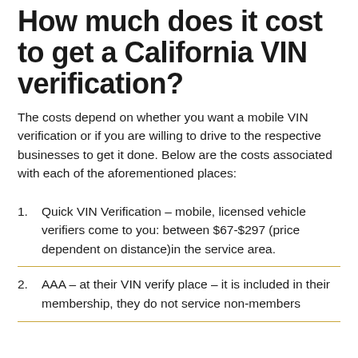How much does it cost to get a California VIN verification?
The costs depend on whether you want a mobile VIN verification or if you are willing to drive to the respective businesses to get it done. Below are the costs associated with each of the aforementioned places:
Quick VIN Verification – mobile, licensed vehicle verifiers come to you: between $67-$297 (price dependent on distance)in the service area.
AAA – at their VIN verify place – it is included in their membership, they do not service non-members